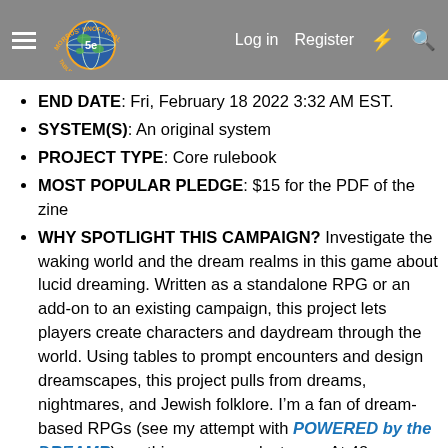Morrus' Unofficial Tabletop RPG News — Log in  Register
END DATE: Fri, February 18 2022 3:32 AM EST.
SYSTEM(S): An original system
PROJECT TYPE: Core rulebook
MOST POPULAR PLEDGE: $15 for the PDF of the zine
WHY SPOTLIGHT THIS CAMPAIGN? Investigate the waking world and the dream realms in this game about lucid dreaming. Written as a standalone RPG or an add-on to an existing campaign, this project lets players create characters and daydream through the world. Using tables to prompt encounters and design dreamscapes, this project pulls from dreams, nightmares, and Jewish folklore. I’m a fan of dream-based RPGs (see my attempt with POWERED by the DREAMR), so this game speaks to me. At 48